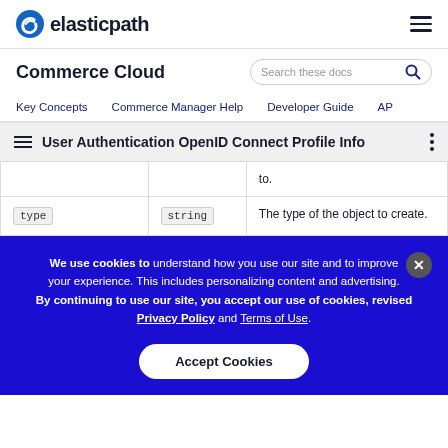elasticpath
Commerce Cloud
Search these docs
Key Concepts  Commerce Manager Help  Developer Guide  API
User Authentication OpenID Connect Profile Info
|  |  |  |
| --- | --- | --- |
|  |  | to. |
| type | string | The type of the object to create. |
We use cookies to understand how you use our site and to improve your experience. This includes personalizing content and advertising. By continuing to use our site, you accept our use of cookies, revised Privacy Policy and Terms of Use.
Accept Cookies